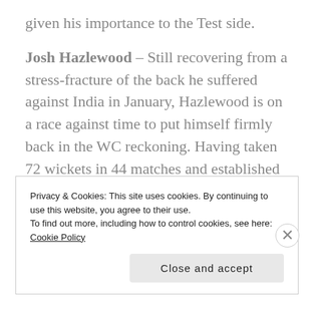given his importance to the Test side.
Josh Hazlewood – Still recovering from a stress-fracture of the back he suffered against India in January, Hazlewood is on a race against time to put himself firmly back in the WC reckoning. Having taken 72 wickets in 44 matches and established himself as a key figure in the ODI setup,
Privacy & Cookies: This site uses cookies. By continuing to use this website, you agree to their use.
To find out more, including how to control cookies, see here: Cookie Policy
Close and accept